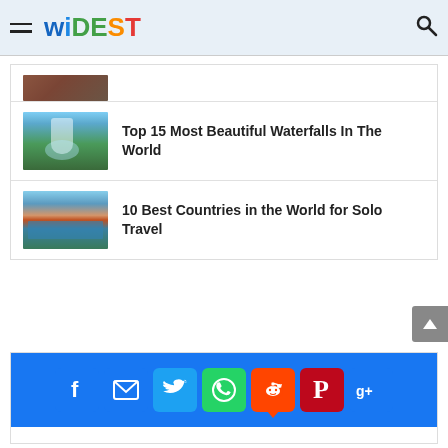WIDEST
[Figure (screenshot): Partial thumbnail of an article image, cropped at top]
Top 15 Most Beautiful Waterfalls In The World
10 Best Countries in the World for Solo Travel
[Figure (infographic): Social media share bar with Facebook, Email, Twitter, WhatsApp, Reddit, Pinterest, Google+ icons on blue background]